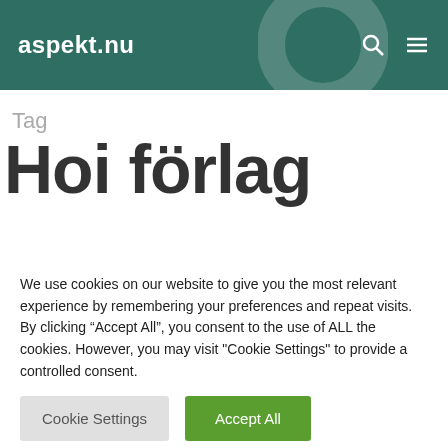aspekt.nu
Tag
Hoi förlag
[Figure (illustration): Book shelf background illustration with muted beige/cream colored square tiles suggesting book spines]
We use cookies on our website to give you the most relevant experience by remembering your preferences and repeat visits. By clicking “Accept All”, you consent to the use of ALL the cookies. However, you may visit "Cookie Settings" to provide a controlled consent.